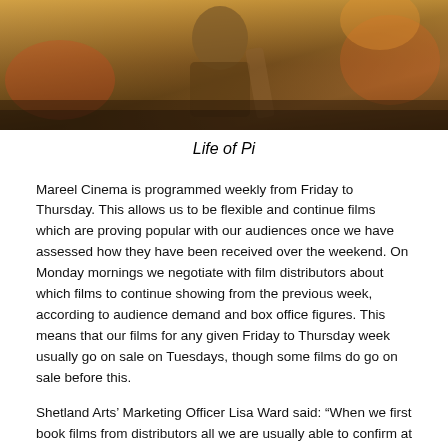[Figure (photo): A photograph from the film Life of Pi, showing a person in muted earth tones with warm golden and orange hues in the background.]
Life of Pi
Mareel Cinema is programmed weekly from Friday to Thursday. This allows us to be flexible and continue films which are proving popular with our audiences once we have assessed how they have been received over the weekend. On Monday mornings we negotiate with film distributors about which films to continue showing from the previous week, according to audience demand and box office figures. This means that our films for any given Friday to Thursday week usually go on sale on Tuesdays, though some films do go on sale before this.
Shetland Arts' Marketing Officer Lisa Ward said: “When we first book films from distributors all we are usually able to confirm at that time is the date that the film will first show in Mareel, but not the exact times it will appear in the cinema. This is how the cinema industry across the UK operates as standard. For big blockbusters